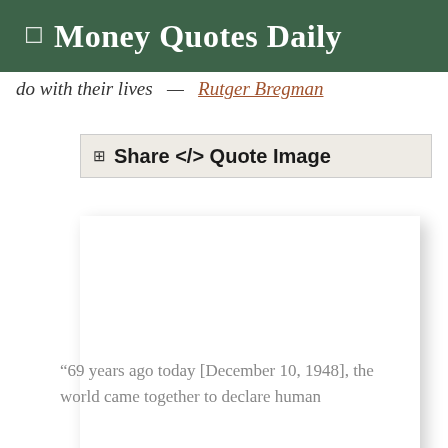Money Quotes Daily
do with their lives — Rutger Bregman
⊞ Share </> Quote Image
[Figure (other): White blank quote image card with drop shadow]
“69 years ago today [December 10, 1948], the world came together to declare human